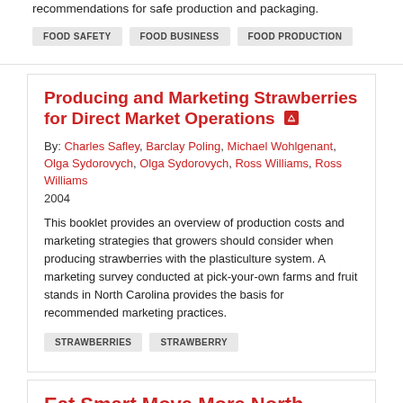recommendations for safe production and packaging.
FOOD SAFETY
FOOD BUSINESS
FOOD PRODUCTION
Producing and Marketing Strawberries for Direct Market Operations
By: Charles Safley, Barclay Poling, Michael Wohlgenant, Olga Sydorovych, Olga Sydorovych, Ross Williams, Ross Williams 2004
This booklet provides an overview of production costs and marketing strategies that growers should consider when producing strawberries with the plasticulture system. A marketing survey conducted at pick-your-own farms and fruit stands in North Carolina provides the basis for recommended marketing practices.
STRAWBERRIES
STRAWBERRY
Eat Smart Move More North Carolina: